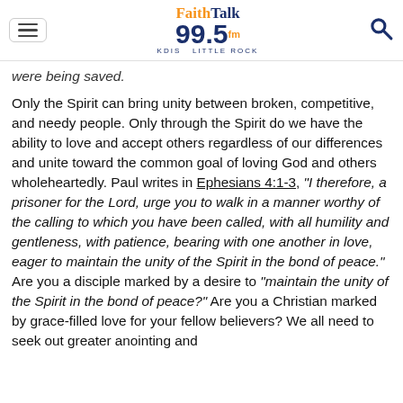FaithTalk 99.5 fm KDIS LITTLE ROCK
were being saved.
Only the Spirit can bring unity between broken, competitive, and needy people. Only through the Spirit do we have the ability to love and accept others regardless of our differences and unite toward the common goal of loving God and others wholeheartedly. Paul writes in Ephesians 4:1-3, "I therefore, a prisoner for the Lord, urge you to walk in a manner worthy of the calling to which you have been called, with all humility and gentleness, with patience, bearing with one another in love, eager to maintain the unity of the Spirit in the bond of peace." Are you a disciple marked by a desire to "maintain the unity of the Spirit in the bond of peace?" Are you a Christian marked by grace-filled love for your fellow believers? We all need to seek out greater anointing and